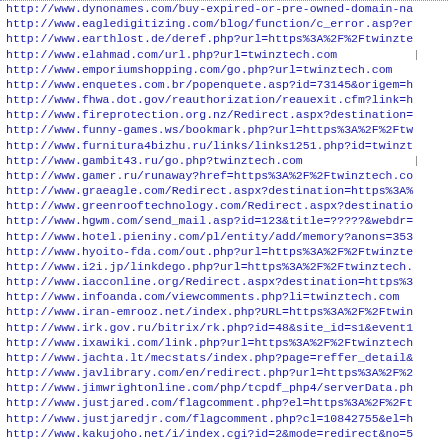http://www.dynonames.com/buy-expired-or-pre-owned-domain-na
http://www.eagledigitizing.com/blog/function/c_error.asp?er
http://www.earthlost.de/deref.php?url=https%3A%2F%2Ftwinzte
http://www.elahmad.com/url.php?url=twinztech.com
http://www.emporiumshopping.com/go.php?url=twinztech.com
http://www.enquetes.com.br/popenquete.asp?id=73145&origem=h
http://www.fhwa.dot.gov/reauthorization/reauexit.cfm?link=h
http://www.fireprotection.org.nz/Redirect.aspx?destination=
http://www.funny-games.ws/bookmark.php?url=https%3A%2F%2Ftw
http://www.furnitura4bizhu.ru/links/links1251.php?id=twinzt
http://www.gambit43.ru/go.php?twinztech.com
http://www.gamer.ru/runaway?href=https%3A%2F%2Ftwinztech.co
http://www.graeagle.com/Redirect.aspx?destination=https%3A%
http://www.greenrooftechnology.com/Redirect.aspx?destinatio
http://www.hgwm.com/send_mail.asp?id=123&title=?????&webdr=
http://www.hotel.pieniny.com/pl/entity/add/memory?anons=353
http://www.hyoito-fda.com/out.php?url=https%3A%2F%2Ftwinzte
http://www.i2i.jp/linkdego.php?url=https%3A%2F%2Ftwinztech.
http://www.iacconline.org/Redirect.aspx?destination=https%3
http://www.infoanda.com/viewcomments.php?li=twinztech.com
http://www.iran-emrooz.net/index.php?URL=https%3A%2F%2Ftwin
http://www.irk.gov.ru/bitrix/rk.php?id=48&site_id=s1&event1
http://www.ixawiki.com/link.php?url=https%3A%2F%2Ftwinztech
http://www.jachta.lt/mecstats/index.php?page=reffer_detail&
http://www.javlibrary.com/en/redirect.php?url=https%3A%2F%2
http://www.jimwrightonline.com/php/tcpdf_php4/serverData.ph
http://www.justjared.com/flagcomment.php?el=https%3A%2F%2Ft
http://www.justjaredjr.com/flagcomment.php?cl=10842755&el=h
http://www.kakujoho.net/i/index.cgi?id=2&mode=redirect&no=5